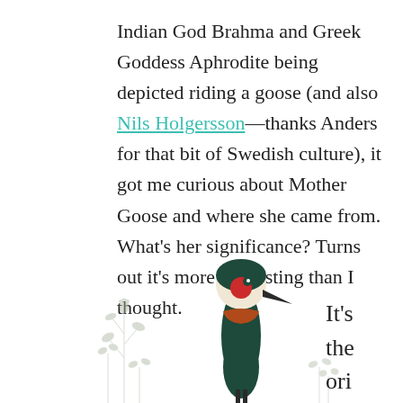Indian God Brahma and Greek Goddess Aphrodite being depicted riding a goose (and also Nils Holgersson—thanks Anders for that bit of Swedish culture), it got me curious about Mother Goose and where she came from. What's her significance? Turns out it's more interesting than I thought.
[Figure (illustration): Illustration of a goose or crane bird with dark teal/green body, beige face with a red circular mark, and a rust-colored neck ring, standing upright. On the left side there are light grey botanical plant sketches (small wildflowers/stems). Additional small plant sketch visible at the bottom right.]
It's the ori zed